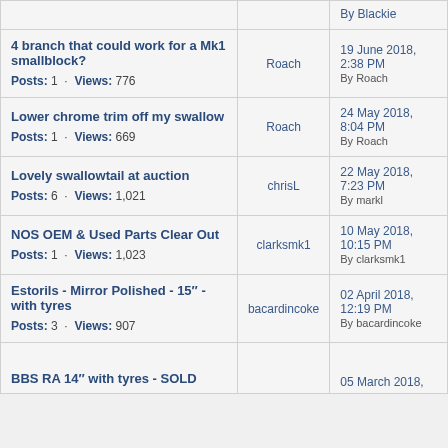| Topic | Started by | Last post |
| --- | --- | --- |
| 4 branch that could work for a Mk1 smallblock?
Posts: 1 · Views: 776 | Roach | 19 June 2018, 2:38 PM
By Roach |
| Lower chrome trim off my swallow
Posts: 1 · Views: 669 | Roach | 24 May 2018, 8:04 PM
By Roach |
| Lovely swallowtail at auction
Posts: 6 · Views: 1,021 | chrisL | 22 May 2018, 7:23 PM
By markl |
| NOS OEM & Used Parts Clear Out
Posts: 1 · Views: 1,023 | clarksmk1 | 10 May 2018, 10:15 PM
By clarksmk1 |
| Estorils - Mirror Polished - 15" - with tyres
Posts: 3 · Views: 907 | bacardincoke | 02 April 2018, 12:19 PM
By bacardincoke |
| BBS RA 14" with tyres - SOLD |  | 05 March 2018, |